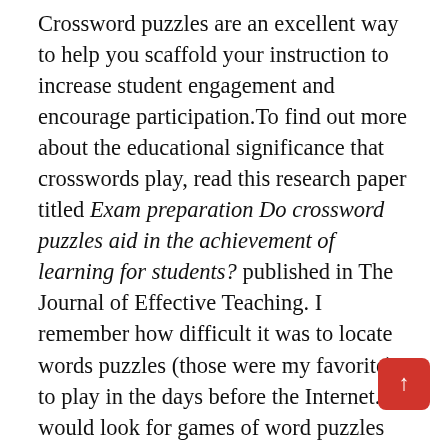Crossword puzzles are an excellent way to help you scaffold your instruction to increase student engagement and encourage participation.To find out more about the educational significance that crosswords play, read this research paper titled Exam preparation Do crossword puzzles aid in the achievement of learning for students? published in The Journal of Effective Teaching. I remember how difficult it was to locate words puzzles (those were my favorite) to play in the days before the Internet. I would look for games of word puzzles on the pages of printed newspapers my father used to read. Today, things are much better, and everything you need is only a mouse click away. Explore them and let us know your comments via our social media channels.